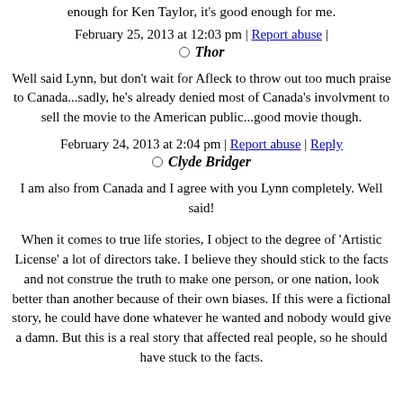enough for Ken Taylor, it's good enough for me.
February 25, 2013 at 12:03 pm | Report abuse |
Thor
Well said Lynn, but don't wait for Afleck to throw out too much praise to Canada...sadly, he's already denied most of Canada's involvment to sell the movie to the American public...good movie though.
February 24, 2013 at 2:04 pm | Report abuse | Reply
Clyde Bridger
I am also from Canada and I agree with you Lynn completely. Well said!
When it comes to true life stories, I object to the degree of 'Artistic License' a lot of directors take. I believe they should stick to the facts and not construe the truth to make one person, or one nation, look better than another because of their own biases. If this were a fictional story, he could have done whatever he wanted and nobody would give a damn. But this is a real story that affected real people, so he should have stuck to the facts.